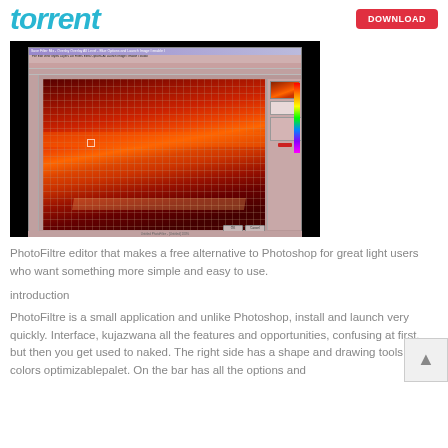torrent
[Figure (screenshot): Screenshot of PhotoFiltre image editing software showing a sunset/landscape photo with red and orange tones being edited, with toolbars, panels, and color picker visible]
PhotoFiltre editor that makes a free alternative to Photoshop for great light users who want something more simple and easy to use.
introduction
PhotoFiltre is a small application and unlike Photoshop, install and launch very quickly. Interface, kujazwana all the features and opportunities, confusing at first, but then you get used to naked. The right side has a shape and drawing tools and colors optimizablepalet. On the bar has all the options and